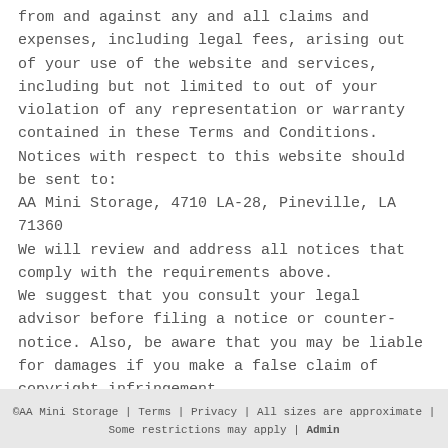from and against any and all claims and expenses, including legal fees, arising out of your use of the website and services, including but not limited to out of your violation of any representation or warranty contained in these Terms and Conditions.
Notices with respect to this website should be sent to:
AA Mini Storage, 4710 LA-28, Pineville, LA 71360
We will review and address all notices that comply with the requirements above.
We suggest that you consult your legal advisor before filing a notice or counter-notice. Also, be aware that you may be liable for damages if you make a false claim of copyright infringement.
©AA Mini Storage | Terms | Privacy | All sizes are approximate | Some restrictions may apply | Admin